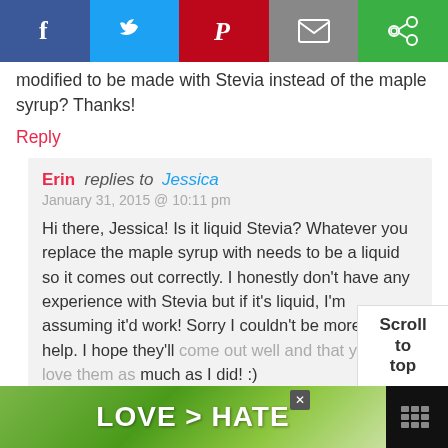[Figure (screenshot): Social media share bar with Facebook, Twitter, Pinterest, Email, and Share buttons]
Do you happen to know if this could be modified to be made with Stevia instead of the maple syrup? Thanks!
Reply
Erin replies to Jessica
January 31, 2015 @ 10:11 pm
Hi there, Jessica! Is it liquid Stevia? Whatever you replace the maple syrup with needs to be a liquid so it comes out correctly. I honestly don't have any experience with Stevia but if it's liquid, I'm assuming it'd work! Sorry I couldn't be more of a help. I hope they'll come out well and that you'll love them as much as I did! :)
[Figure (screenshot): Advertisement banner: hands forming a heart shape, text LOVE > HATE]